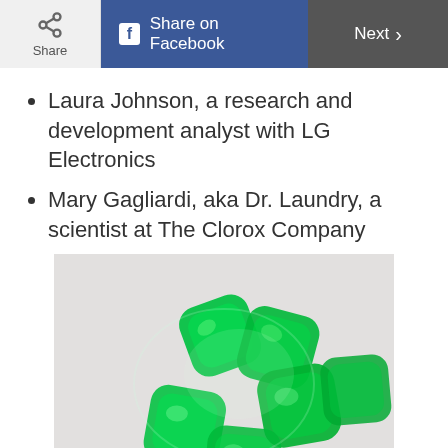Share | Share on Facebook | Next
Laura Johnson, a research and development analyst with LG Electronics
Mary Gagliardi, aka Dr. Laundry, a scientist at The Clorox Company
[Figure (photo): Several green translucent laundry detergent pods grouped together on a light gray background]